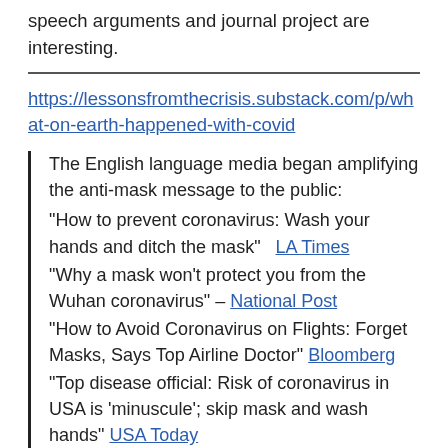speech arguments and journal project are interesting.
https://lessonsfromthecrisis.substack.com/p/what-on-earth-happened-with-covid
The English language media began amplifying the anti-mask message to the public: “How to prevent coronavirus: Wash your hands and ditch the mask”   LA Times “Why a mask won’t protect you from the Wuhan coronavirus” – National Post “How to Avoid Coronavirus on Flights: Forget Masks, Says Top Airline Doctor” Bloomberg “Top disease official: Risk of coronavirus in USA is ‘minuscule’; skip mask and wash hands” USA Today